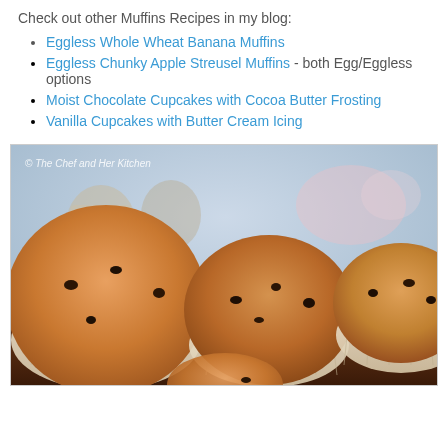Check out other Muffins Recipes in my blog:
Eggless Whole Wheat Banana Muffins
Eggless Chunky Apple Streusel Muffins - both Egg/Eggless options
Moist Chocolate Cupcakes with Cocoa Butter Frosting
Vanilla Cupcakes with Butter Cream Icing
[Figure (photo): Close-up photo of chocolate chip muffins in paper liners with bokeh background, watermark reading © The Chef and Her Kitchen]